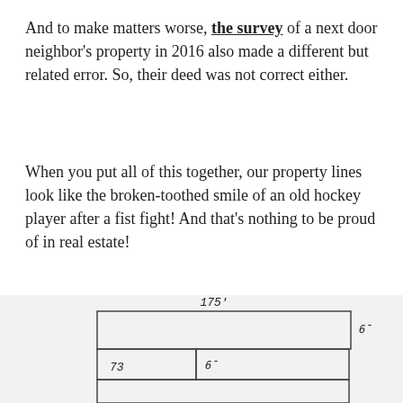And to make matters worse, the survey of a next door neighbor's property in 2016 also made a different but related error. So, their deed was not correct either.
When you put all of this together, our property lines look like the broken-toothed smile of an old hockey player after a fist fight! And that's nothing to be proud of in real estate!
[Figure (engineering-diagram): Hand-drawn property survey diagram showing three overlapping rectangular parcels. The top rectangle is labeled 175' on top and 6' on the right side. A middle rectangle shares the lower portion with a vertical divider; labeled 6' in the middle and 73 on the left. A third rectangle extends below partially.]